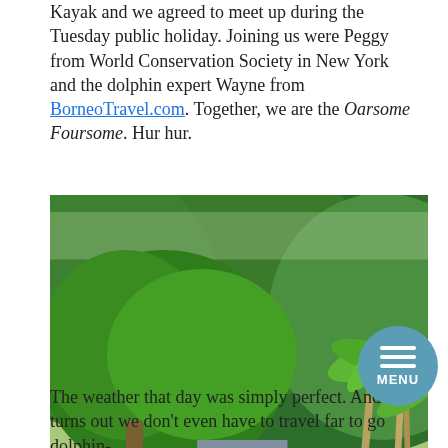Kayak and we agreed to meet up during the Tuesday public holiday. Joining us were Peggy from World Conservation Society in New York and the dolphin expert Wayne from BorneoTravel.com. Together, we are the Oarsome Foursome. Hur hur.
[Figure (photo): A tropical scene with lush green trees, palm trees, a small white building with a car parked outside, and a motorbike in the foreground. Dense green hillside in the background.]
The weather that day was simply perfect. And it turns out we don't even have to travel far to go dolphin-